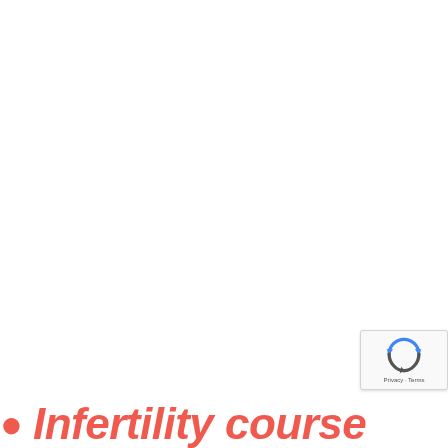Infertility course
[Figure (other): reCAPTCHA badge widget with recycling arrows logo, showing 'Privacy - Terms' text]